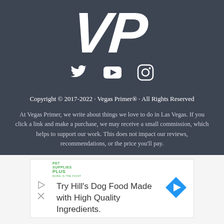[Figure (logo): VP logo in white italic bold letters on dark slate background]
[Figure (illustration): Social media icons: Twitter bird, YouTube play button, Instagram camera — all white on dark background]
Copyright © 2017-2022 · Vegas Primer® · All Rights Reserved
At Vegas Primer, we write about things we love to do in Las Vegas. If you click a link and make a purchase, we may receive a small commission, which helps to support our work. This does not impact our reviews, recommendations, or the price you'll pay.
[Figure (screenshot): Advertisement box with Pet Supplies Plus logo, text 'Try Hill's Dog Food Made with High Quality Ingredients.' and a blue diamond-shaped arrow icon on the right]